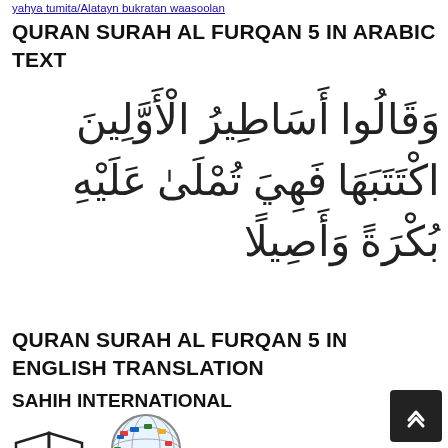yahya tumita/Alatayn bukratan waasoolan
QURAN SURAH AL FURQAN 5 IN ARABIC TEXT
وَقَالُوا أَسَاطِيرُ الْأَوَّلِينَ اكْتَتَبَهَا فَهِيَ تُمْلَىٰ عَلَيْهِ بُكْرَةً وَأَصِيلًا
QURAN SURAH AL FURQAN 5 IN ENGLISH TRANSLATION
SAHIH INTERNATIONAL
[Figure (illustration): Book icon (open Quran/book) and globe icon with flags]